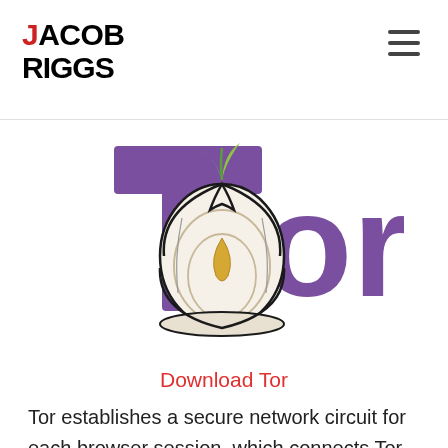JACOB RIGGS
[Figure (logo): Tor browser logo — purple letter T, an onion illustration in the center, purple letters 'or' to the right, green sprout on top of the onion]
Download Tor
Tor establishes a secure network circuit for each browser session, which connects Tor nodes deployed around the world at random. These nodes encrypt your browser traffic in layers at each node hop on its way to/from the source (your browser) and the destination (a host, hidden service).